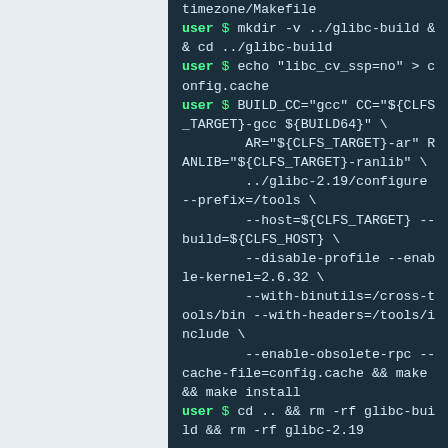[Figure (screenshot): Terminal/code block showing shell commands for building glibc cross-compiler toolchain on a dark background (#1a2e3b). Commands include mkdir, echo, BUILD_CC, configure, and cd/rm. Keywords 'user' and '$' are highlighted in green.]